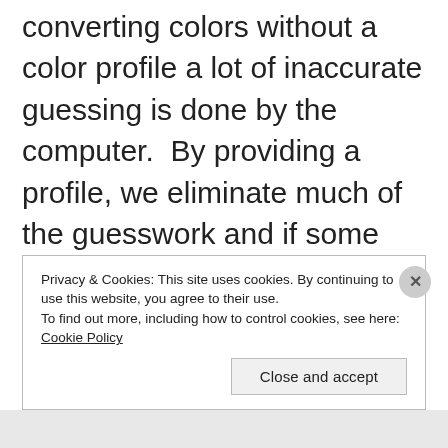converting colors without a color profile a lot of inaccurate guessing is done by the computer.  By providing a profile, we eliminate much of the guesswork and if some guessing is required, the profile gives the computer more information to make a better informed guess than without a profile.  For instance if your third party inks tend to print colors a tiny bit more red, this information is given to the computer to adjust for the red
Privacy & Cookies: This site uses cookies. By continuing to use this website, you agree to their use.
To find out more, including how to control cookies, see here: Cookie Policy